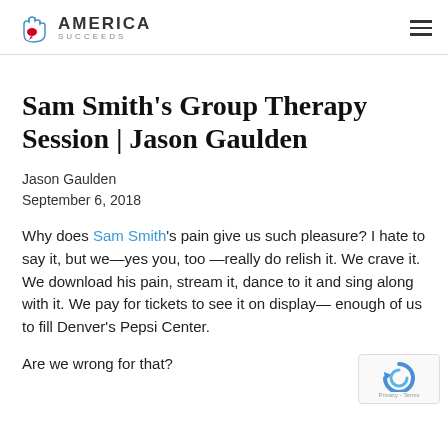America Succeeds
Sam Smith’s Group Therapy Session | Jason Gaulden
Jason Gaulden
September 6, 2018
Why does Sam Smith’s pain give us such pleasure? I hate to say it, but we—yes you, too—really do relish it. We crave it. We download his pain, stream it, dance to it and sing along with it. We pay for tickets to see it on display—enough of us to fill Denver’s Pepsi Center.
Are we wrong for that?